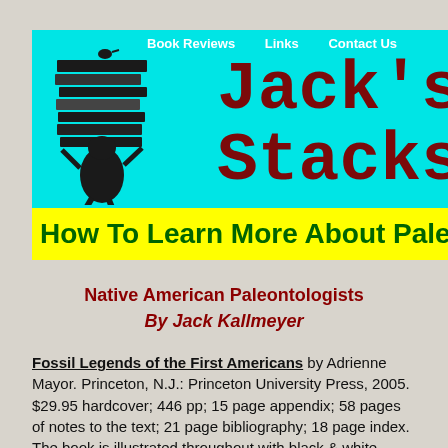Book Reviews   Links   Contact Us
Jack's Stacks
How To Learn More About Paleonto...
Native American Paleontologists
By Jack Kallmeyer
Fossil Legends of the First Americans by Adrienne Mayor. Princeton, N.J.: Princeton University Press, 2005. $29.95 hardcover; 446 pp; 15 page appendix; 58 pages of notes to the text; 21 page bibliography; 18 page index. The book is illustrated throughout with black & white photographs and other art.